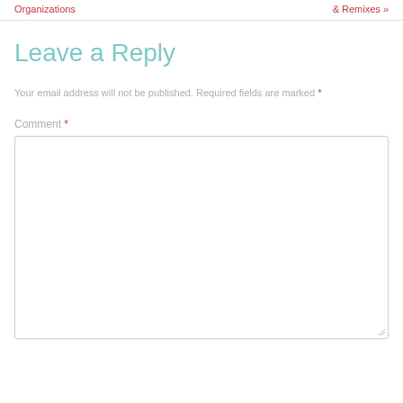Organizations   & Remixes »
Leave a Reply
Your email address will not be published. Required fields are marked *
Comment *